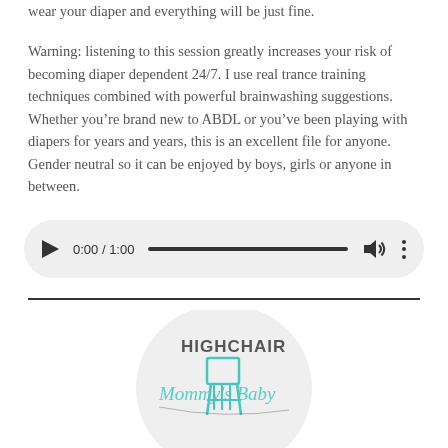wear your diaper and everything will be just fine.
Warning: listening to this session greatly increases your risk of becoming diaper dependent 24/7. I use real trance training techniques combined with powerful brainwashing suggestions. Whether you're brand new to ABDL or you've been playing with diapers for years and years, this is an excellent file for anyone. Gender neutral so it can be enjoyed by boys, girls or anyone in between.
[Figure (screenshot): Audio player widget showing 0:00 / 1:00 with play button, progress bar, volume and more options icons]
[Figure (logo): Circular logo with text 'HIGHCHAIR' and 'Mommy's Baby' in teal/mint cursive lettering with a highchair graphic]